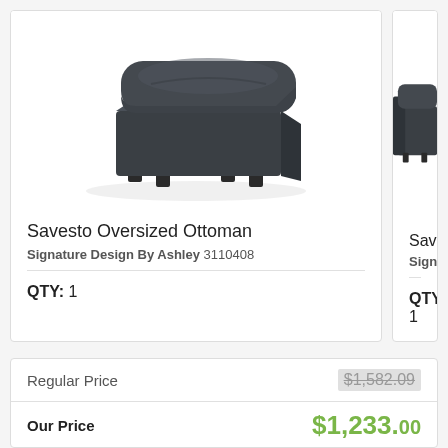[Figure (photo): Savesto Oversized Ottoman – dark charcoal fabric ottoman with rounded top cushion and short block feet, left product card image]
Savesto Oversized Ottoman
Signature Design By Ashley 3110408
QTY: 1
[Figure (photo): Partial view of second Savesto product (right card, cropped)]
Saves...
Signatur...
QTY: 1
|  |  |
| --- | --- |
| Regular Price | $1,582.09 |
| Our Price | $1,233.00 |